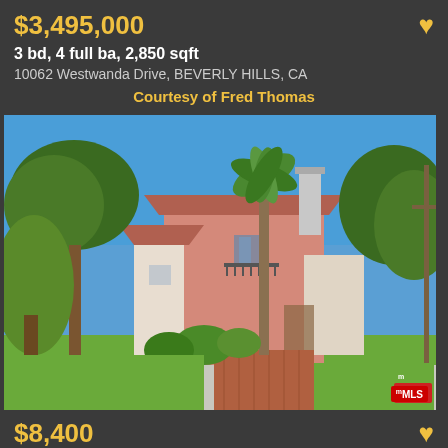$3,495,000
3 bd, 4 full ba, 2,850 sqft
10062 Westwanda Drive, BEVERLY HILLS, CA
Courtesy of Fred Thomas
[Figure (photo): Exterior photo of a pink Spanish-style two-story home with palm tree, lush greenery and brick driveway in Beverly Hills, CA. MLS logo in bottom right corner.]
$8,400